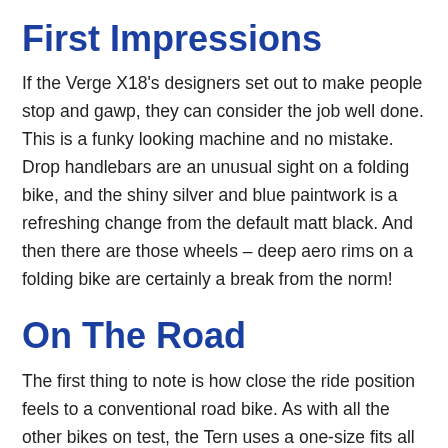First Impressions
If the Verge X18's designers set out to make people stop and gawp, they can consider the job well done. This is a funky looking machine and no mistake. Drop handlebars are an unusual sight on a folding bike, and the shiny silver and blue paintwork is a refreshing change from the default matt black. And then there are those wheels – deep aero rims on a folding bike are certainly a break from the norm!
On The Road
The first thing to note is how close the ride position feels to a conventional road bike. As with all the other bikes on test, the Tern uses a one-size fits all approach, but has the